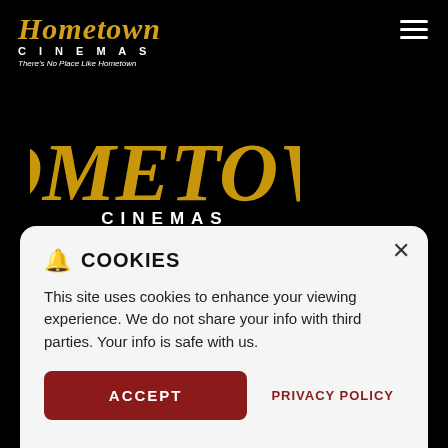[Figure (logo): Hometown Cinemas logo (small, top left): gold italic serif HOMETOWN text above CINEMAS in white spaced caps, tagline 'There's No Place Like Hometown' in white italic]
[Figure (logo): Hometown Cinemas logo (large, center): gold italic serif HOMETOWN text above CINEMAS in white spaced caps, tagline 'There's No Place Like Hometown' in white italic]
CHOOSE A LOCATION
COOKIES
This site uses cookies to enhance your viewing experience. We do not share your info with third parties. Your info is safe with us.
ACCEPT   PRIVACY POLICY